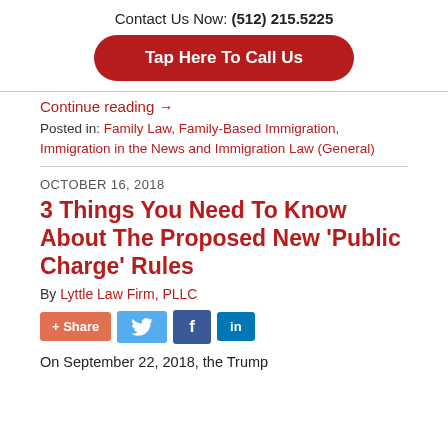Contact Us Now: (512) 215.5225
[Figure (other): Red rounded button: Tap Here To Call Us]
Continue reading →
Posted in: Family Law, Family-Based Immigration, Immigration in the News and Immigration Law (General)
OCTOBER 16, 2018
3 Things You Need To Know About The Proposed New 'Public Charge' Rules
By Lyttle Law Firm, PLLC
[Figure (other): Social share buttons: + Share, Twitter, Facebook, LinkedIn]
On September 22, 2018, the Trump